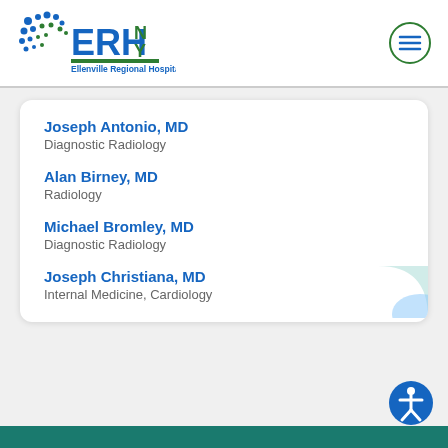Ellenville Regional Hospital – ERHN NY
Joseph Antonio, MD
Diagnostic Radiology
Alan Birney, MD
Radiology
Michael Bromley, MD
Diagnostic Radiology
Joseph Christiana, MD
Internal Medicine, Cardiology